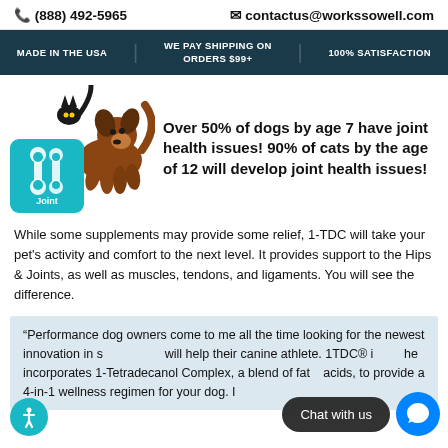☎ (888) 492-5965   ✉ contactus@workssowell.com
MADE IN THE USA | WE PAY SHIPPING ON ORDERS $99+ | 100% SATISFACTION
[Figure (illustration): Leaping dog with a teal joint health icon badge in the corner]
Over 50% of dogs by age 7 have joint health issues! 90% of cats by the age of 12 will develop joint health issues!
While some supplements may provide some relief, 1-TDC will take your pet's activity and comfort to the next level. It provides support to the Hips & Joints, as well as muscles, tendons, and ligaments. You will see the difference.
“Performance dog owners come to me all the time looking for the newest innovation in s... will help their canine athlete. 1TDC® i... he incorporates 1-Tetradecanol Complex, a blend of fatty acids, to provide a 4-in-1 wellness regimen for your dog. I